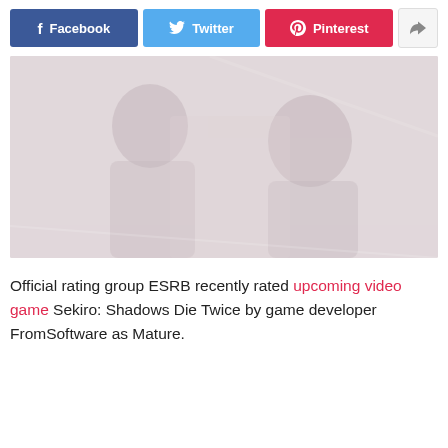[Figure (other): Social media share buttons row: Facebook (blue), Twitter (light blue), Pinterest (red/pink), and a share icon button (grey)]
[Figure (photo): A washed-out/faded photo showing two figures, appears to be game-related imagery, very low contrast with muted pinkish-grey tones]
Official rating group ESRB recently rated upcoming video game Sekiro: Shadows Die Twice by game developer FromSoftware as Mature.